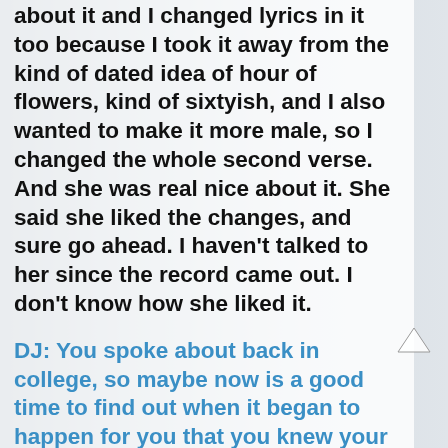about it and I changed lyrics in it too because I took it away from the kind of dated idea of hour of flowers, kind of sixtyish, and I also wanted to make it more male, so I changed the whole second verse. And she was real nice about it. She said she liked the changes, and sure go ahead. I haven't talked to her since the record came out. I don't know how she liked it.
DJ: You spoke about back in college, so maybe now is a good time to find out when it began to happen for you that you knew your life was gonna take this turn.
DAN: Well, it happened on, I think it was March 14, 1970 (they both laugh), was the night. No, actually I was doing a lot of things even since high school. I was playing in bands before high school even. My first band I was in at 14. And we were playing just